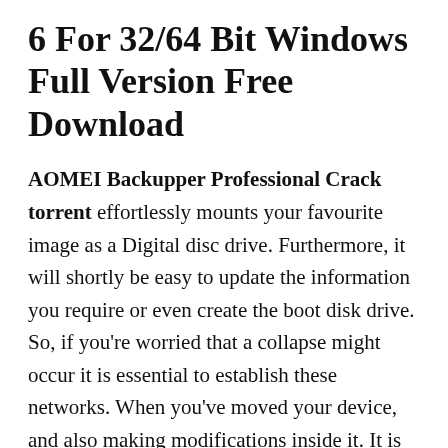6 For 32/64 Bit Windows Full Version Free Download
AOMEI Backupper Professional Crack torrent effortlessly mounts your favourite image as a Digital disc drive. Furthermore, it will shortly be easy to update the information you require or even create the boot disk drive. So, if you're worried that a collapse might occur it is essential to establish these networks. When you've moved your device, and also making modifications inside it. It is possible to immediately start using an extremely fast keyboard for PC. You really need an internet-connected mobile device creates. We are aware of which records is